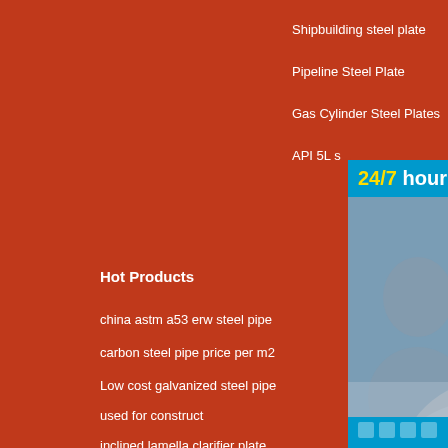Shipbuilding steel plate
Pipeline Steel Plate
Gas Cylinder Steel Plates
API 5L s...
Hot Products
Latest
china astm a53 erw steel pipe
carbon steel pipe price per m2
Low cost galvanized steel pipe
used for construct
inclined lamella clarifier plate
tube
high precision honed carbon
steel pipe
china cheap astm b444
asian tu...
steel tub...
tube cha...
carbon s...
fitting
2 inch metal conduit pipe
ASTM A53 A500 A275 A252
ERW Steel Pipe 1 820
[Figure (photo): Chat widget overlay showing a customer service representative with headset, with '24/7 hour online' header in yellow/white on blue background, chat dots, and 'Click to chat' button. Chinese sidebar with text '在线咨询'.]